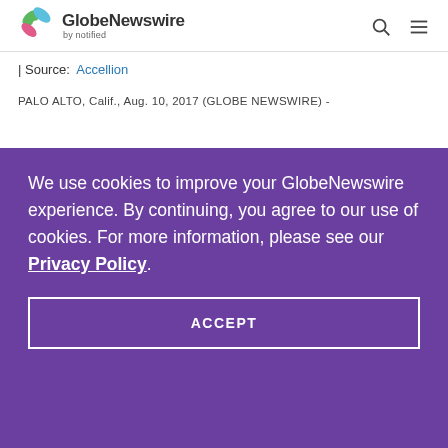GlobeNewswire by notified
| Source:  Accellion
PALO ALTO, Calif., Aug. 10, 2017 (GLOBE NEWSWIRE) -
We use cookies to improve your GlobeNewswire experience. By continuing, you agree to our use of cookies. For more information, please see our Privacy Policy.
ACCEPT